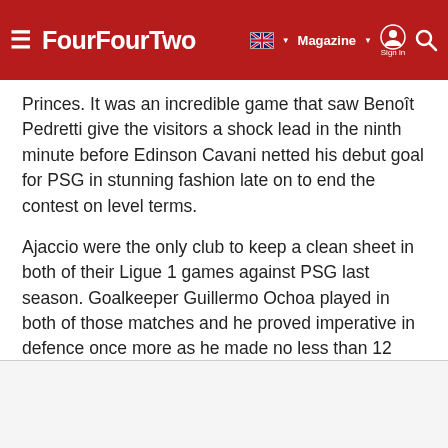FourFourTwo — Magazine | Sign in | Search
Princes. It was an incredible game that saw Benoît Pedretti give the visitors a shock lead in the ninth minute before Edinson Cavani netted his debut goal for PSG in stunning fashion late on to end the contest on level terms.
Ajaccio were the only club to keep a clean sheet in both of their Ligue 1 games against PSG last season. Goalkeeper Guillermo Ochoa played in both of those matches and he proved imperative in defence once more as he made no less than 12 saves to heroically deny PSG all three points.